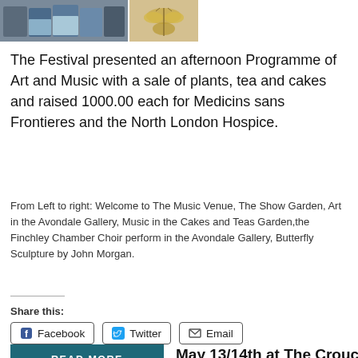[Figure (photo): Two-panel photo strip: left panel shows people at a music venue event, right panel shows a butterfly sculpture artwork by John Morgan.]
The Festival presented an afternoon Programme of Art and Music with a sale of plants, tea and cakes and raised 1000.00 each for Medicins sans Frontieres and the North London Hospice.
From Left to right: Welcome to The Music Venue, The Show Garden, Art in the Avondale Gallery, Music in the Cakes and Teas Garden,the Finchley Chamber Choir perform in the Avondale Gallery, Butterfly Sculpture by John Morgan.
Share this:
Facebook
Twitter
Email
READ MORE
May 13/14th at The Crouch End Gallery: 'Drawn